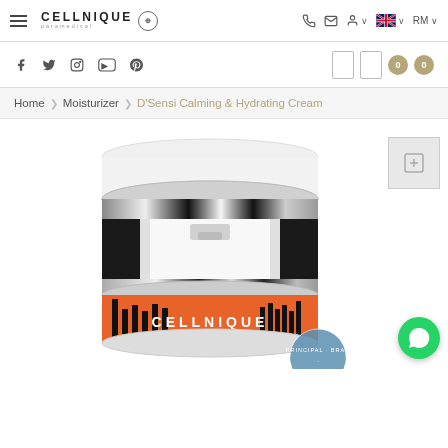CELLNIQUE paramedical — Navigation bar with phone, email, language (RM) options
Social icons: Facebook, Twitter, Instagram, YouTube, Pinterest — Cart area with 0 items
Home  ❯  Moisturizer  ❯  D'Sensi Calming & Hydrating Cream
[Figure (photo): Product photo of Cellnique D'Sensi Calming & Hydrating Cream airless pump jar — white and silver cylindrical container with orange label band showing 'CELLNIQUE' branding, partially cropped at bottom. A small thumbnail image panel is visible top-right. WhatsApp chat button (green circle) bottom-right. A circular badge reading 'PRINCIPAL · BRAND' visible at bottom-right of product.]